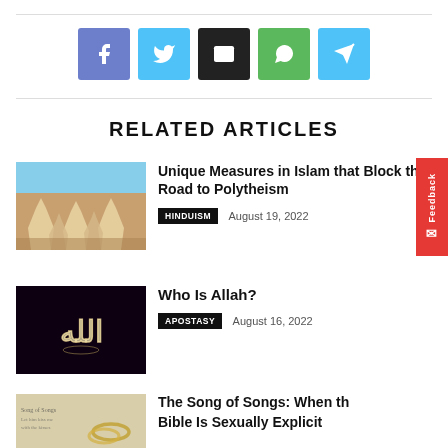[Figure (other): Social share buttons: Facebook (blue-purple), Twitter (light blue), Email (black), WhatsApp (green), Telegram (light blue)]
RELATED ARTICLES
[Figure (photo): Aerial photo of a Hindu temple complex in a desert landscape]
Unique Measures in Islam that Block the Road to Polytheism
HINDUISM   August 19, 2022
[Figure (photo): Dark background with Arabic calligraphy of Allah in glowing light]
Who Is Allah?
APOSTASY   August 16, 2022
[Figure (photo): Wedding rings on Bible page]
The Song of Songs: When the Bible Is Sexually Explicit